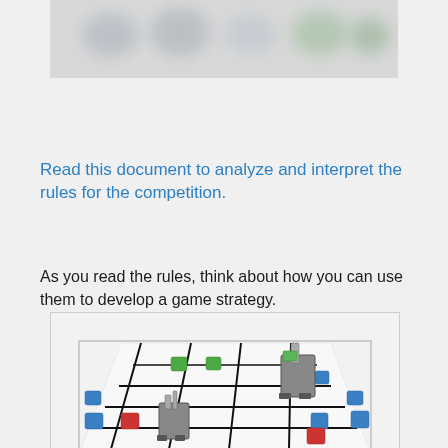[Figure (photo): Blurred/partially visible photo at top of page, appears to show colorful objects or game pieces]
Read this document to analyze and interpret the rules for the competition.
As you read the rules, think about how you can use them to develop a game strategy.
[Figure (photo): Photograph of a VEX robotics competition game field showing a white grid arena with colorful cubes (blue, green, red) and two robots]